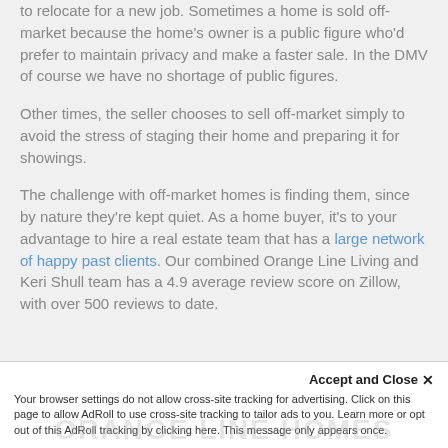to relocate for a new job. Sometimes a home is sold off-market because the home's owner is a public figure who'd prefer to maintain privacy and make a faster sale. In the DMV of course we have no shortage of public figures.
Other times, the seller chooses to sell off-market simply to avoid the stress of staging their home and preparing it for showings.
The challenge with off-market homes is finding them, since by nature they're kept quiet. As a home buyer, it's to your advantage to hire a real estate team that has a large network of happy past clients. Our combined Orange Line Living and Keri Shull team has a 4.9 average review score on Zillow, with over 500 reviews to date.
Accept and Close ×
Your browser settings do not allow cross-site tracking for advertising. Click on this page to allow AdRoll to use cross-site tracking to tailor ads to you. Learn more or opt out of this AdRoll tracking by clicking here. This message only appears once.